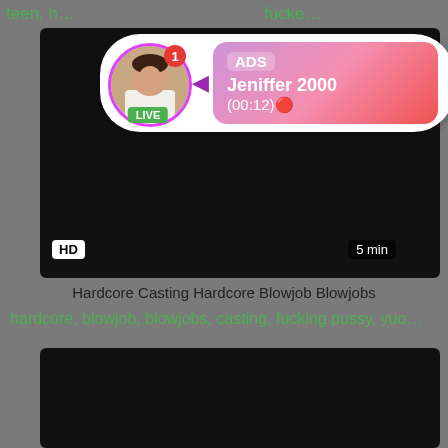teen, h... fucke...
[Figure (screenshot): Dark video thumbnail with HD badge and 5 min duration]
[Figure (infographic): Ad popup overlay with avatar, LIVE badge, notification dot, and ADS Jeniffer 2000 (00:12) info box]
Hardcore Casting Hardcore Blowjob Blowjobs
hardcore, blowjob, blowjobs, casting, fucking pussy, yuo...
[Figure (screenshot): Second dark video thumbnail]